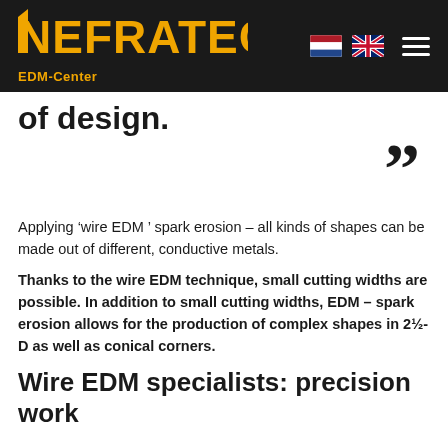NEFRATECH EDM-Center
of design.
[Figure (illustration): Large closing quotation mark decorative element]
Applying ‘wire EDM ’ spark erosion – all kinds of shapes can be made out of different, conductive metals.
Thanks to the wire EDM technique, small cutting widths are possible. In addition to small cutting widths, EDM – spark erosion allows for the production of complex shapes in 2½-D as well as conical corners.
Wire EDM specialists: precision work